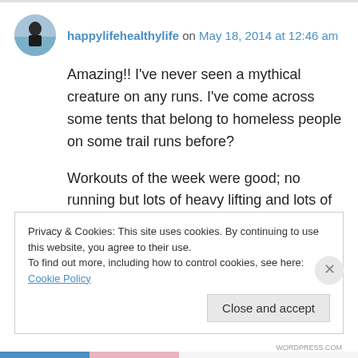happylifehealthylife on May 18, 2014 at 12:46 am
Amazing!! I've never seen a mythical creature on any runs. I've come across some tents that belong to homeless people on some trail runs before?
Workouts of the week were good; no running but lots of heavy lifting and lots of bike sprints which left my muscles happy 🙂
Privacy & Cookies: This site uses cookies. By continuing to use this website, you agree to their use. To find out more, including how to control cookies, see here: Cookie Policy
Close and accept